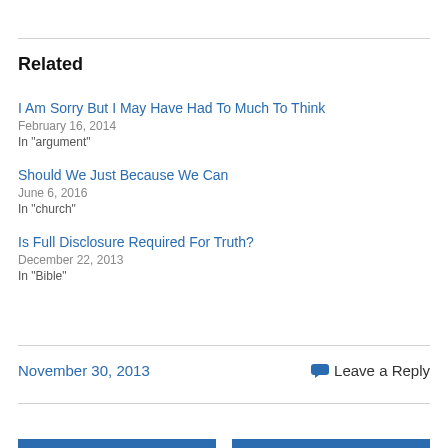Related
I Am Sorry But I May Have Had To Much To Think
February 16, 2014
In "argument"
Should We Just Because We Can
June 6, 2016
In "church"
Is Full Disclosure Required For Truth?
December 22, 2013
In "Bible"
November 30, 2013
Leave a Reply